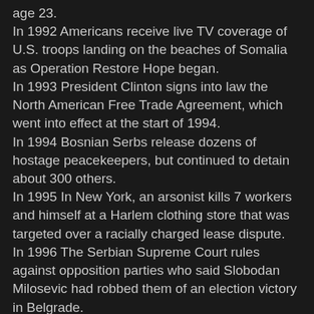age 23.
In 1992 Americans receive live TV coverage of U.S. troops landing on the beaches of Somalia as Operation Restore Hope began.
In 1993 President Clinton signs into law the North American Free Trade Agreement, which went into effect at the start of 1994.
In 1994 Bosnian Serbs release dozens of hostage peacekeepers, but continued to detain about 300 others.
In 1995 In New York, an arsonist kills 7 workers and himself at a Harlem clothing store that was targeted over a racially charged lease dispute.
In 1996 The Serbian Supreme Court rules against opposition parties who said Slobodan Milosevic had robbed them of an election victory in Belgrade.
In 1997 In $25 billion deal, Swiss Bank and the Union Bank of Switzerland plan to combine, forming Europe's largest and the world's second largest bank.
In 1997 Federal hearings open in Baltimore into the TWA Flight